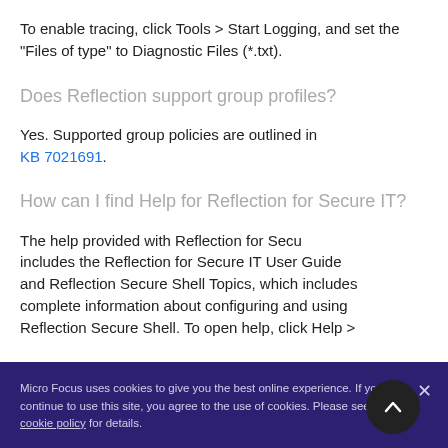To enable tracing, click Tools > Start Logging, and set the "Files of type" to Diagnostic Files (*.txt).
Does Reflection support group profiles?
Yes. Supported group policies are outlined in KB 7021691.
How can I find Help for Reflection for Secure IT?
The help provided with Reflection for Secure IT includes the Reflection for Secure IT User Guide and Reflection Secure Shell Topics, which includes complete information about configuring and using Reflection Secure Shell. To open help, click Help >
Micro Focus uses cookies to give you the best online experience. If you continue to use this site, you agree to the use of cookies. Please see our cookie policy for details.